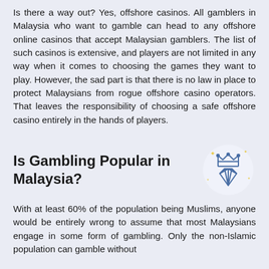Is there a way out? Yes, offshore casinos. All gamblers in Malaysia who want to gamble can head to any offshore online casinos that accept Malaysian gamblers. The list of such casinos is extensive, and players are not limited in any way when it comes to choosing the games they want to play. However, the sad part is that there is no law in place to protect Malaysians from rogue offshore casino operators. That leaves the responsibility of choosing a safe offshore casino entirely in the hands of players.
Is Gambling Popular in Malaysia?
[Figure (illustration): A stylized diamond/gem icon topped with a crown, drawn in blue outline style with small yellow star decorations on a light circular background.]
With at least 60% of the population being Muslims, anyone would be entirely wrong to assume that most Malaysians engage in some form of gambling. Only the non-Islamic population can gamble without